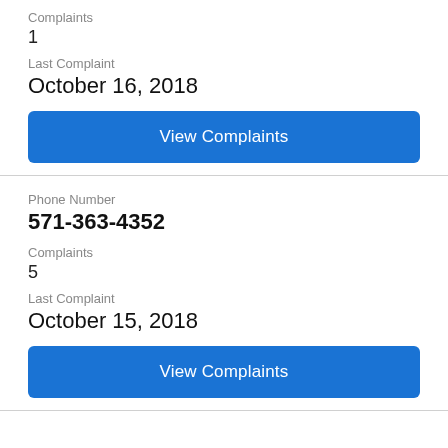Complaints
1
Last Complaint
October 16, 2018
View Complaints
Phone Number
571-363-4352
Complaints
5
Last Complaint
October 15, 2018
View Complaints